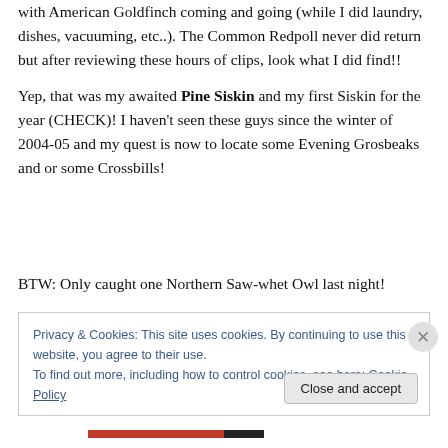with American Goldfinch coming and going (while I did laundry, dishes, vacuuming, etc..). The Common Redpoll never did return but after reviewing these hours of clips, look what I did find!!
Yep, that was my awaited Pine Siskin and my first Siskin for the year (CHECK)! I haven't seen these guys since the winter of 2004-05 and my quest is now to locate some Evening Grosbeaks and or some Crossbills!
BTW: Only caught one Northern Saw-whet Owl last night!
Privacy & Cookies: This site uses cookies. By continuing to use this website, you agree to their use.
To find out more, including how to control cookies, see here: Cookie Policy